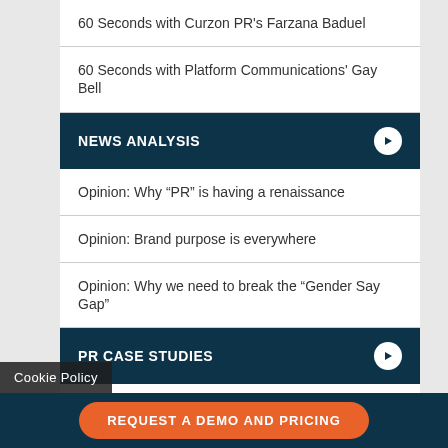60 Seconds with Curzon PR's Farzana Baduel
60 Seconds with Platform Communications' Gay Bell
NEWS ANALYSIS
Opinion: Why “PR” is having a renaissance
Opinion: Brand purpose is everywhere
Opinion: Why we need to break the “Gender Say Gap”
PR CASE STUDIES
PR Case Study: Speed – BuzzBites
PR Case Study: AmazeRealise – utoTraderGoals
Cookie Policy
REQUEST A DEMO AND PRICING